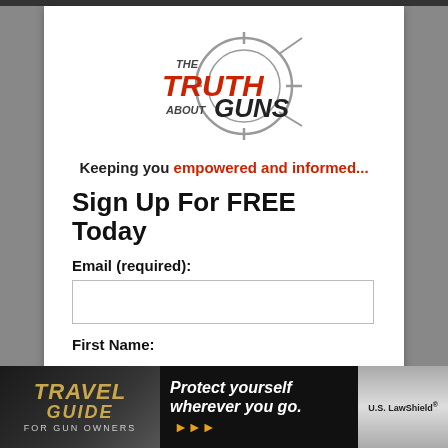[Figure (logo): The Truth About Guns logo with crosshair/scope graphic and red/black text]
Keeping you empowered and informed...
Sign Up For FREE Today
Email (required):
First Name:
[Figure (infographic): Travel Guide For Gun Owners advertisement banner with U.S. LawShield — Protect yourself wherever you go.]